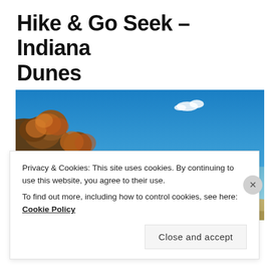Hike & Go Seek – Indiana Dunes
july 23, 2020 by kayeray, posted in hiking
[Figure (photo): Wide landscape photo of Indiana Dunes: sandy beach in the foreground, trees with autumn foliage on a dune ridge to the left, bright blue sky with a small cloud, calm lake water to the right, two small figures visible on the beach in the distance.]
Privacy & Cookies: This site uses cookies. By continuing to use this website, you agree to their use.
To find out more, including how to control cookies, see here: Cookie Policy
Close and accept